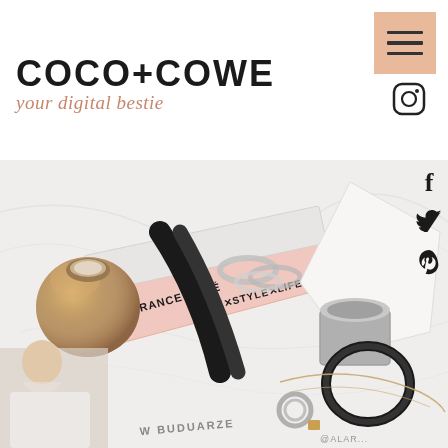COCO+COWE
your digital bestie
[Figure (photo): Flatlay photo of luxury lifestyle items on marble surface: metallic gold candle holder, silver rings, pink book by Garance Dore titled LOVE X STYLE X LIFE, a black hair tie, silver candle holder, jewelry including a necklace and ring, and a partial image of a blonde woman in white.]